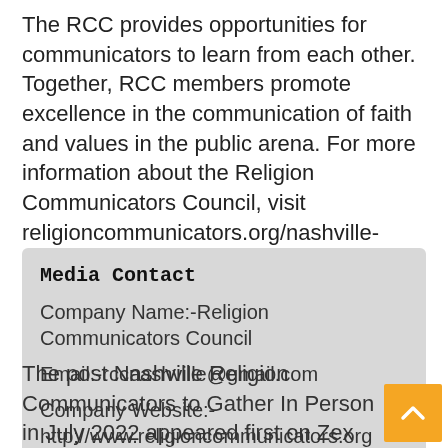The RCC provides opportunities for communicators to learn from each other. Together, RCC members promote excellence in the communication of faith and values in the public arena. For more information about the Religion Communicators Council, visit religioncommunicators.org/nashville-chapter.
Media Contact
Company Name:-Religion Communicators Council
Email:-rccnashville@gmail.com
Company Website:- http://www.religioncommunicators.org
The post Nashville Religion Communicators to Gather In Person in July 2022 appeared first on Zex